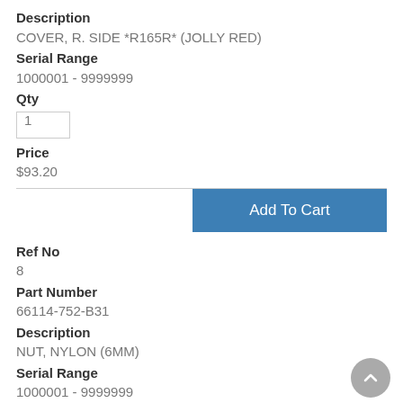Description
COVER, R. SIDE *R165R* (JOLLY RED)
Serial Range
1000001 - 9999999
Qty
1
Price
$93.20
Add To Cart
Ref No
8
Part Number
66114-752-B31
Description
NUT, NYLON (6MM)
Serial Range
1000001 - 9999999
Qty
4